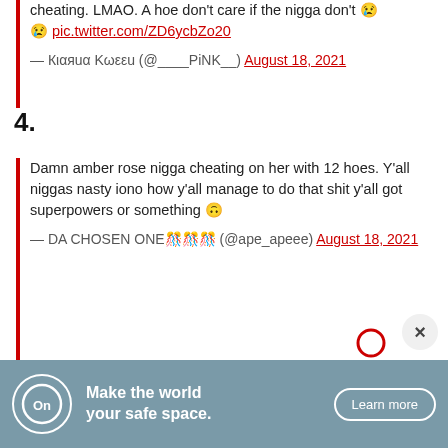cheating. LMAO. A hoe don't care if the nigga don't 😢 pic.twitter.com/ZD6ycbZo20
— Кιαяuα Κωεεu (@____PiNK__) August 18, 2021
4.
Damn amber rose nigga cheating on her with 12 hoes. Y'all niggas nasty iono how y'all manage to do that shit y'all got superpowers or something 🙃
— DA CHOSEN ONE🎊🎊🎊 (@ape_apeee) August 18, 2021
[Figure (infographic): Advertisement banner with teal/blue-gray background. OnStar logo on left (circle with 'On' text and star). Text reads 'Make the world your safe space.' with a 'Learn more' button on right.]